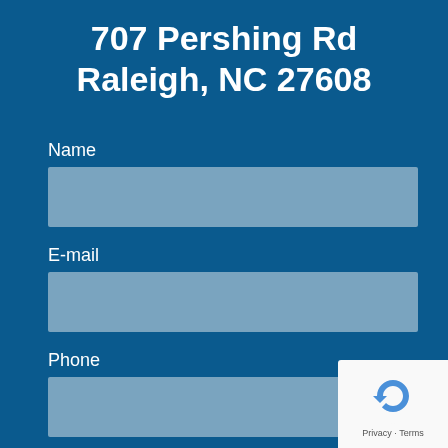707 Pershing Rd
Raleigh, NC 27608
Name
E-mail
Phone